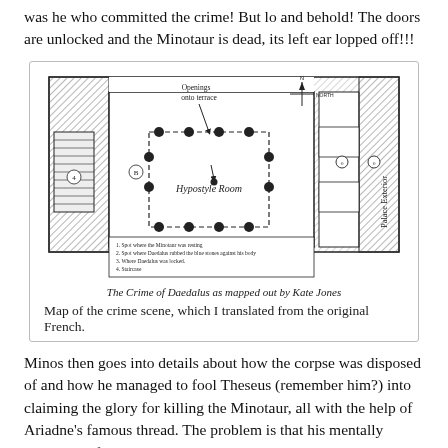was he who committed the crime! But lo and behold! The doors are unlocked and the Minotaur is dead, its left ear lopped off!!!
[Figure (map): Floor plan/map of the crime scene showing the Hypostyle Room with dotted square indicating column positions, openings onto terrace, Palace Exterior label, compass rose, and numbered legend: 1. Spot where the Minotaur was resting, 2. Spot where Daedalus rubbed the blue stones against his body, 3. Where Daedalus was locked, 4. Staircase. Title: The Crime of Daedalus as mapped out by Kate Jones.]
Map of the crime scene, which I translated from the original French.
Minos then goes into details about how the corpse was disposed of and how he managed to fool Theseus (remember him?) into claiming the glory for killing the Minotaur, all with the help of Ariadne's famous thread. The problem is that his mentally unstable wife, Pasiphaë, is not